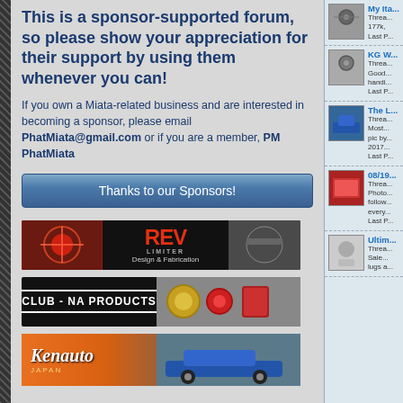This is a sponsor-supported forum, so please show your appreciation for their support by using them whenever you can!
If you own a Miata-related business and are interested in becoming a sponsor, please email PhatMiata@gmail.com or if you are a member, PM PhatMiata
Thanks to our Sponsors!
[Figure (illustration): REV Limiter Design & Fabrication sponsor banner]
[Figure (illustration): Club-NA Products sponsor banner]
[Figure (illustration): Kenauto Japan sponsor banner]
My Ita... Threads: 177k, Last P...
KG W... Threads: Good... handi... Last P...
The L... Threads: Most... pic by... 2017... Last P...
08/19... Threads: Photo... follow... every... Last P...
Ultim... Threads: Sale... lugs a...